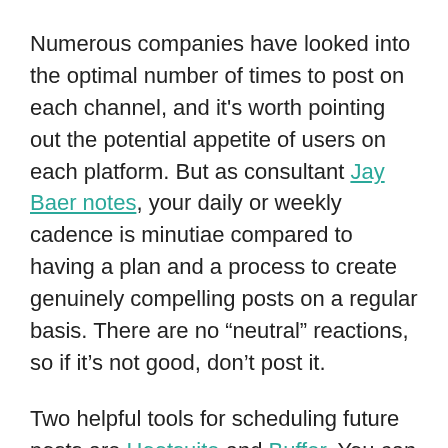Numerous companies have looked into the optimal number of times to post on each channel, and it’s worth pointing out the potential appetite of users on each platform. But as consultant Jay Baer notes, your daily or weekly cadence is minutiae compared to having a plan and a process to create genuinely compelling posts on a regular basis. There are no “neutral” reactions, so if it’s not good, don’t post it.
Two helpful tools for scheduling future posts are Hootsuite and Buffer. You can integrate them with your browser and dozens of other